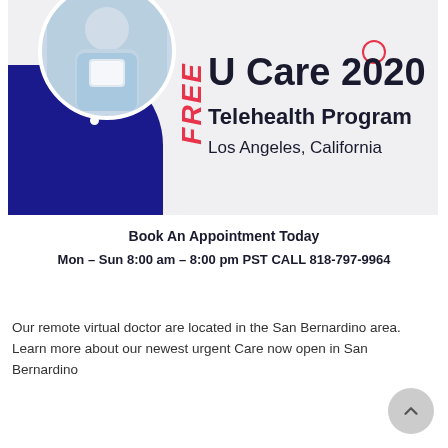[Figure (infographic): Promotional banner for FREE U Care 2020 Telehealth Program in Los Angeles, California. Features a dark navy blue shape on the left with a circular photo of a person in a white coat holding a tablet, 'FREE' text in red vertical italic letters, and the program title in bold.]
Book An Appointment Today
Mon – Sun 8:00 am – 8:00 pm PST CALL 818-797-9964
Our remote virtual doctor are located in the San Bernardino area. Learn more about our newest urgent Care now open in San Bernardino